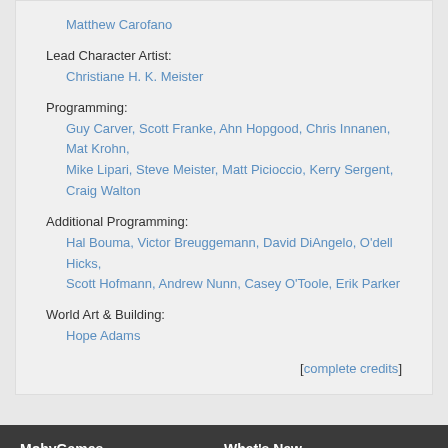Matthew Carofano
Lead Character Artist:
Christiane H. K. Meister
Programming:
Guy Carver, Scott Franke, Ahn Hopgood, Chris Innanen, Mat Krohn, Mike Lipari, Steve Meister, Matt Picioccio, Kerry Sergent, Craig Walton
Additional Programming:
Hal Bouma, Victor Breuggemann, David DiAngelo, O'dell Hicks, Scott Hofmann, Andrew Nunn, Casey O'Toole, Erik Parker
World Art & Building:
Hope Adams
[complete credits]
MobyGames
What's New
Home
FAQ
New Games
Game Updates